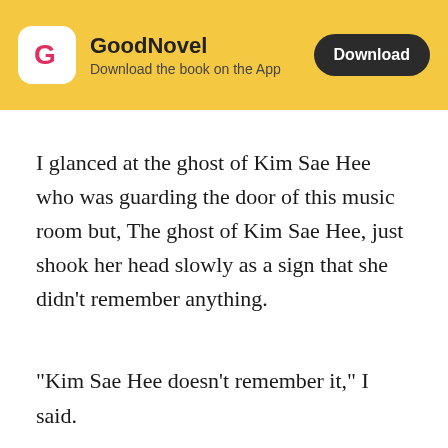[Figure (logo): GoodNovel app banner with logo, app name, subtitle 'Download the book on the App', and a Download button]
I glanced at the ghost of Kim Sae Hee who was guarding the door of this music room but, The ghost of Kim Sae Hee, just shook her head slowly as a sign that she didn't remember anything.
"Kim Sae Hee doesn't remember it," I said.